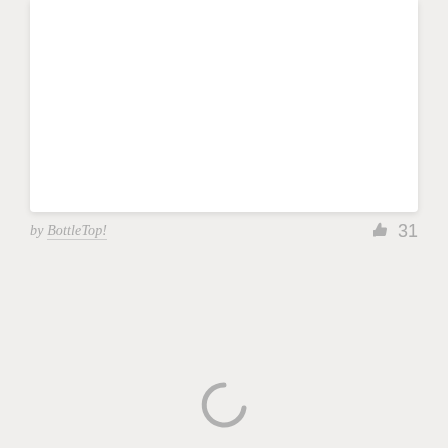[Figure (screenshot): White card panel at top of page, partially visible, with drop shadow]
by BottleTop!  👍 31
[Figure (screenshot): Light grey card/panel with a loading spinner (arc) centered near the bottom]